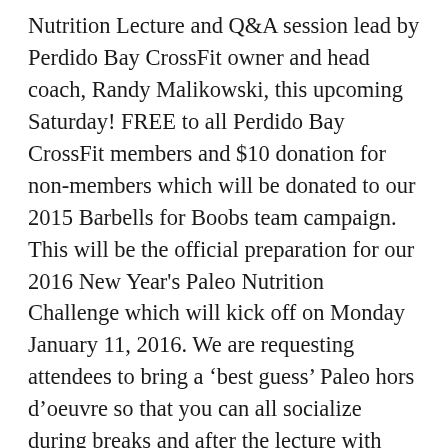Nutrition Lecture and Q&A session lead by Perdido Bay CrossFit owner and head coach, Randy Malikowski, this upcoming Saturday! FREE to all Perdido Bay CrossFit members and $10 donation for non-members which will be donated to our 2015 Barbells for Boobs team campaign. This will be the official preparation for our 2016 New Year's Paleo Nutrition Challenge which will kick off on Monday January 11, 2016. We are requesting attendees to bring a 'best guess' Paleo hors d'oeuvre so that you can all socialize during breaks and after the lecture with those that who potentially be in this with you for the 30 day challenge. If you're interested in participating in the upcoming New Years Paleo Challenge and to share more about your experience